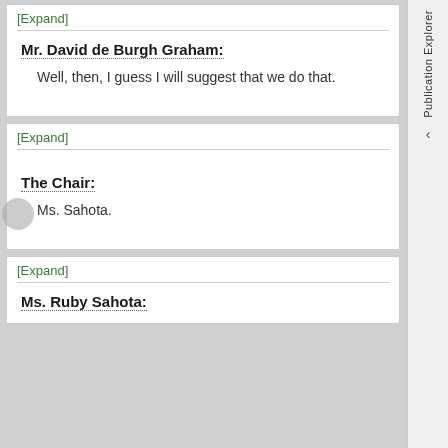[Expand]
Mr. David de Burgh Graham:
Well, then, I guess I will suggest that we do that.
[Expand]
The Chair:
Ms. Sahota.
[Expand]
Ms. Ruby Sahota: